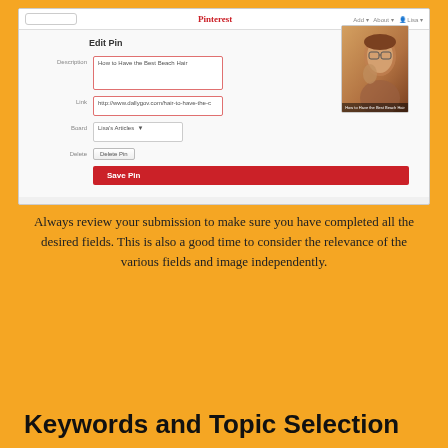[Figure (screenshot): Pinterest 'Edit Pin' form screenshot showing Description field with 'How to Have the Best Beach Hair', Link field with URL, Board dropdown showing 'Lisa's Articles', Delete Pin button, Save Pin button, and a thumbnail of a woman with glasses]
Always review your submission to make sure you have completed all the desired fields. This is also a good time to consider the relevance of the various fields and image independently.
Keywords and Topic Selection